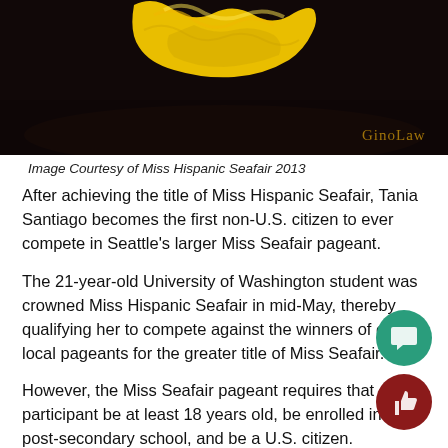[Figure (photo): Photo of yellow fabric/dress on a dark stage background with 'GinoLaw' watermark in bottom right corner]
Image Courtesy of Miss Hispanic Seafair 2013
After achieving the title of Miss Hispanic Seafair, Tania Santiago becomes the first non-U.S. citizen to ever compete in Seattle's larger Miss Seafair pageant.
The 21-year-old University of Washington student was crowned Miss Hispanic Seafair in mid-May, thereby qualifying her to compete against the winners of other local pageants for the greater title of Miss Seafair.
However, the Miss Seafair pageant requires that each participant be at least 18 years old, be enrolled in a post-secondary school, and be a U.S. citizen.